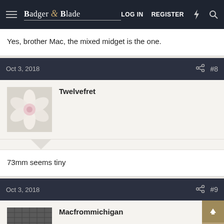Badger & Blade — LOG IN  REGISTER
Yes, brother Mac, the mixed midget is the one.
Oct 3, 2018  #8
Twelvefret
73mm seems tiny
Oct 3, 2018  #9
Macfrommichigan